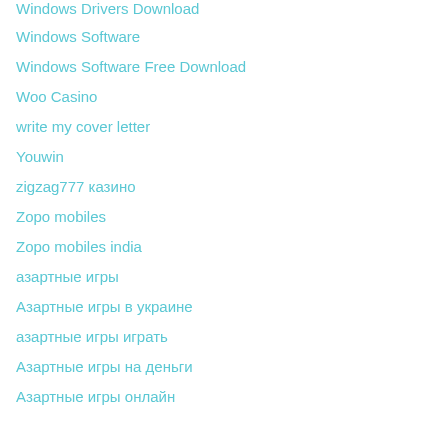Windows Drivers Download
Windows Software
Windows Software Free Download
Woo Casino
write my cover letter
Youwin
zigzag777 казино
Zopo mobiles
Zopo mobiles india
азартные игры
Азартные игры в украине
азартные игры играть
Азартные игры на деньги
Азартные игры онлайн